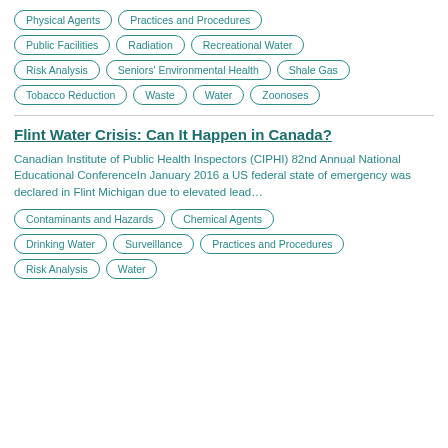Physical Agents
Practices and Procedures
Public Facilities
Radiation
Recreational Water
Risk Analysis
Seniors' Environmental Health
Shale Gas
Tobacco Reduction
Waste
Water
Zoonoses
Flint Water Crisis: Can It Happen in Canada?
Canadian Institute of Public Health Inspectors (CIPHI) 82nd Annual National Educational ConferenceIn January 2016 a US federal state of emergency was declared in Flint Michigan due to elevated lead…
Contaminants and Hazards
Chemical Agents
Drinking Water
Surveillance
Practices and Procedures
Risk Analysis
Water